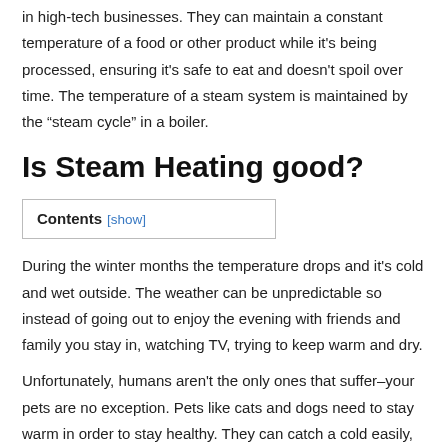in high-tech businesses. They can maintain a constant temperature of a food or other product while it's being processed, ensuring it's safe to eat and doesn't spoil over time. The temperature of a steam system is maintained by the “steam cycle” in a boiler.
Is Steam Heating good?
Contents [show]
During the winter months the temperature drops and it's cold and wet outside. The weather can be unpredictable so instead of going out to enjoy the evening with friends and family you stay in, watching TV, trying to keep warm and dry.
Unfortunately, humans aren't the only ones that suffer–your pets are no exception. Pets like cats and dogs need to stay warm in order to stay healthy. They can catch a cold easily, and what's